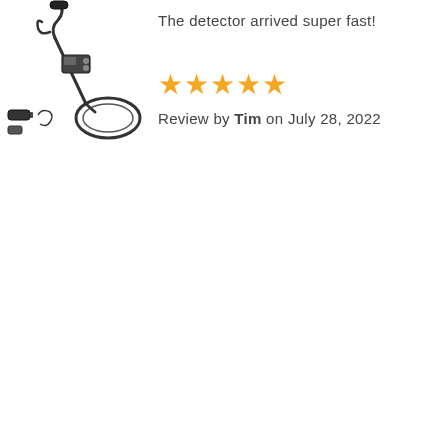[Figure (illustration): Metal detector product image showing the detector assembled and disassembled with accessories including coil, rod sections, and small attachments]
The detector arrived super fast!
[Figure (other): Five gold/yellow star rating icons]
Review by Tim on July 28, 2022